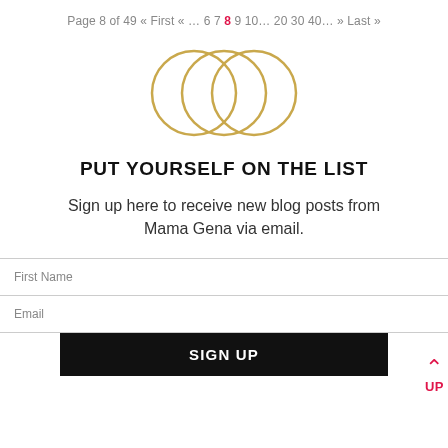Page 8 of 49 « First « … 6 7 8 9 10… 20 30 40… » Last »
[Figure (logo): Three overlapping circles logo in gold/yellow outline]
PUT YOURSELF ON THE LIST
Sign up here to receive new blog posts from Mama Gena via email.
First Name
Email
SIGN UP